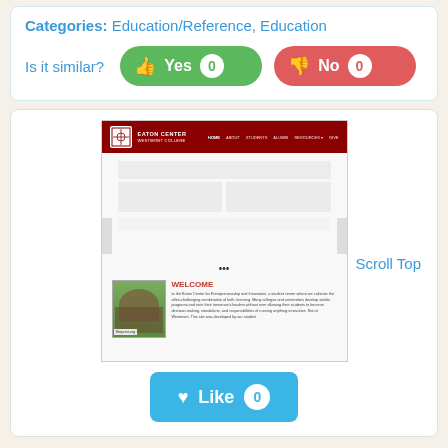Categories: Education/Reference, Education
Is it similar?
[Figure (screenshot): Screenshot of eatoncenter.westmont.edu website with red header showing EATON CENTER WESTMONT COLLEGE logo and navigation. Body shows a welcome section with a photo of a man and descriptive text. Siteprice.org watermark visible.]
Scroll Top
Like 0
W  eatonprogram.com
eaton center for entrepreneurship & innovation at